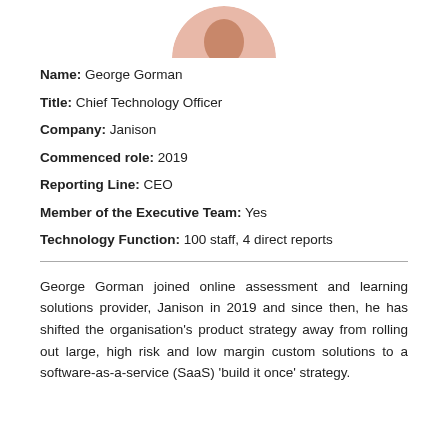[Figure (photo): Circular cropped portrait photo of George Gorman, partially visible at top of page]
Name: George Gorman
Title: Chief Technology Officer
Company: Janison
Commenced role: 2019
Reporting Line: CEO
Member of the Executive Team: Yes
Technology Function: 100 staff, 4 direct reports
George Gorman joined online assessment and learning solutions provider, Janison in 2019 and since then, he has shifted the organisation's product strategy away from rolling out large, high risk and low margin custom solutions to a software-as-a-service (SaaS) 'build it once' strategy.